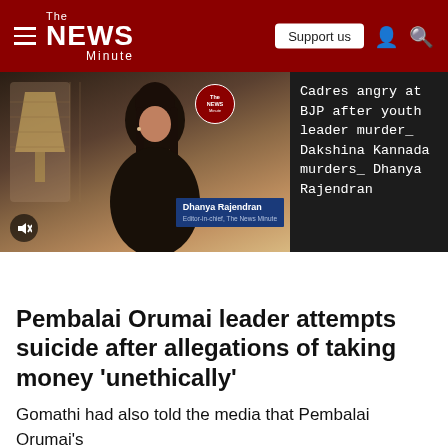The News Minute
[Figure (screenshot): Video thumbnail showing a woman (Dhanya Rajendran, Editor-in-chief, The News Minute) speaking to camera, with The News Minute logo badge. Alongside is a dark sidebar with text about a BJP youth leader murder story.]
Cadres angry at BJP after youth leader murder_ Dakshina Kannada murders_ Dhanya Rajendran
Pembalai Orumai leader attempts suicide after allegations of taking money 'unethically'
Gomathi had also told the media that Pembalai Orumai's